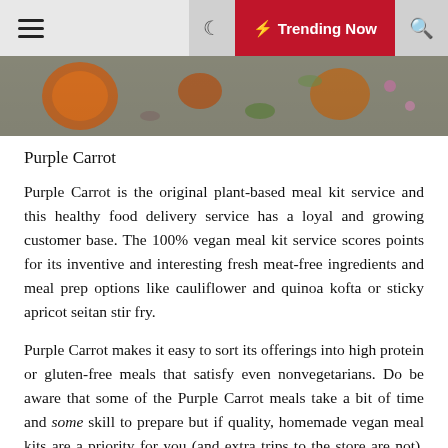☰  ☾  ⚡ Trending Now  🔍
[Figure (photo): Top-down food photo showing bowls with orange/red soup and scattered herbs and vegetables on a dark stone background]
Purple Carrot
Purple Carrot is the original plant-based meal kit service and this healthy food delivery service has a loyal and growing customer base. The 100% vegan meal kit service scores points for its inventive and interesting fresh meat-free ingredients and meal prep options like cauliflower and quinoa kofta or sticky apricot seitan stir fry.
Purple Carrot makes it easy to sort its offerings into high protein or gluten-free meals that satisfy even nonvegetarians. Do be aware that some of the Purple Carrot meals take a bit of time and some skill to prepare but if quality, homemade vegan meal kits are a priority for you (and extra trips to the store are not), this is probably the best meal kit for you.